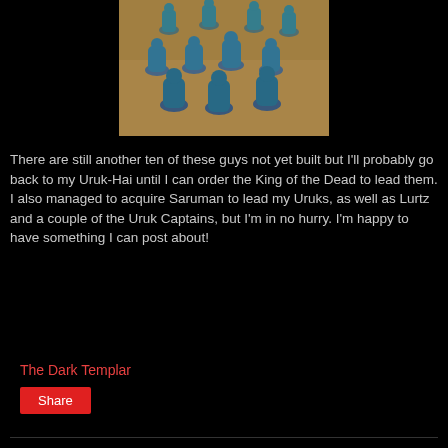[Figure (photo): Blue-primed fantasy miniature figures (undead/skeleton warriors) arranged on a wooden surface, photographed from above at an angle.]
There are still another ten of these guys not yet built but I'll probably go back to my Uruk-Hai until I can order the King of the Dead to lead them. I also managed to acquire Saruman to lead my Uruks, as well as Lurtz and a couple of the Uruk Captains, but I'm in no hurry. I'm happy to have something I can post about!
The Dark Templar
Share